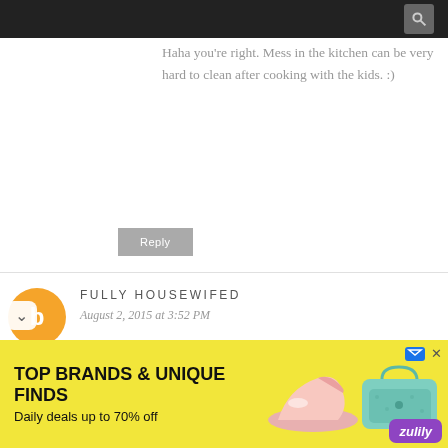Haha you're right. Mess in the kitchen can be very hard to clean after cooking with the kids. :)
Reply
FULLY HOUSEWIFED
August 2, 2015 at 3:52 PM
yes, the more kids are involved in the preparation,
[Figure (screenshot): Advertisement banner: TOP BRANDS & UNIQUE FINDS, Daily deals up to 70% off - Zulily ad with yellow background, shoes and bag images]